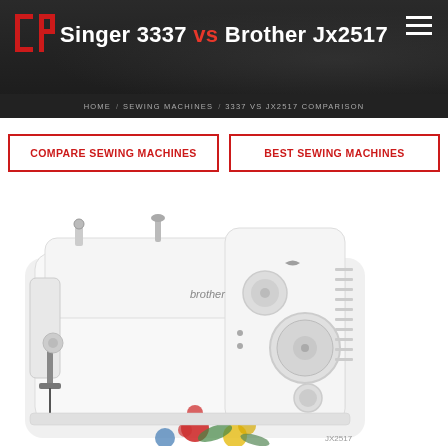Singer 3337 vs Brother Jx2517
HOME / SEWING MACHINES / 3337 VS JX2517 COMPARISON
COMPARE SEWING MACHINES
BEST SEWING MACHINES
[Figure (photo): Brother Jx2517 sewing machine, white with floral decorations and Brother branding, shown at an angle]